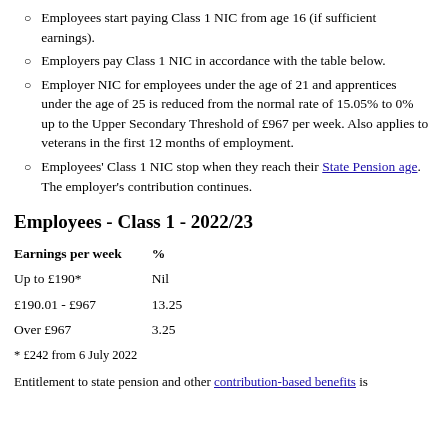Employees start paying Class 1 NIC from age 16 (if sufficient earnings).
Employers pay Class 1 NIC in accordance with the table below.
Employer NIC for employees under the age of 21 and apprentices under the age of 25 is reduced from the normal rate of 15.05% to 0% up to the Upper Secondary Threshold of £967 per week. Also applies to veterans in the first 12 months of employment.
Employees' Class 1 NIC stop when they reach their State Pension age. The employer's contribution continues.
Employees - Class 1 - 2022/23
| Earnings per week | % |
| --- | --- |
| Up to £190* | Nil |
| £190.01 - £967 | 13.25 |
| Over £967 | 3.25 |
* £242 from 6 July 2022
Entitlement to state pension and other contribution-based benefits is